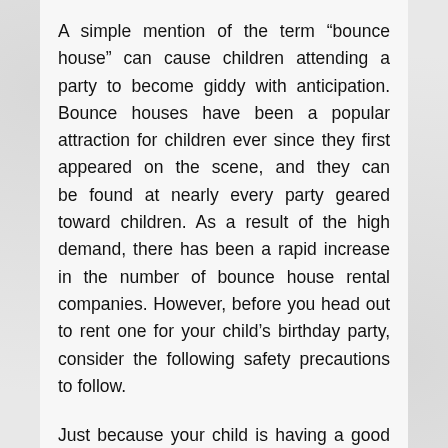A simple mention of the term “bounce house” can cause children attending a party to become giddy with anticipation. Bounce houses have been a popular attraction for children ever since they first appeared on the scene, and they can be found at nearly every party geared toward children. As a result of the high demand, there has been a rapid increase in the number of bounce house rental companies. However, before you head out to rent one for your child’s birthday party, consider the following safety precautions to follow.
Just because your child is having a good time with their friends does not imply that you should be stress-free. As a parent, it is your responsibility to keep an eye on your children if something unpleasant occurs. You cannot simply turn your back while children have a good time under the impression that you keep an eye on them.
It gives them the freedom to enjoy themselves without